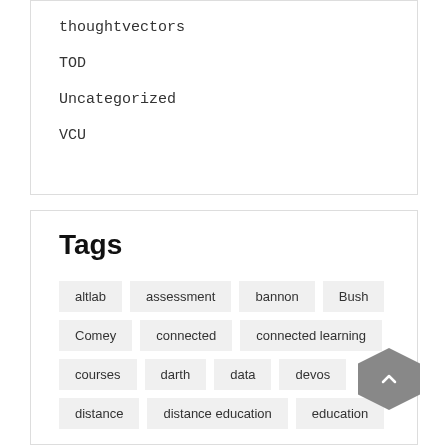thoughtvectors
TOD
Uncategorized
VCU
Tags
altlab
assessment
bannon
Bush
Comey
connected
connected learning
courses
darth
data
devos
distance
distance education
education